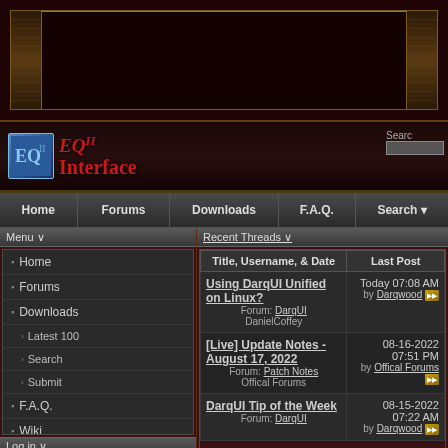[Figure (screenshot): Dark red banner area with decorative gold border frames on left and right sides]
[Figure (logo): EQ2 Interface logo - stylized text with blue icon, red gothic lettering reading 'EQ II Interface']
Home | Forums | Downloads | F.A.Q. | Search
Menu
Home
Forums
Downloads
Latest 100
Search
Submit
F.A.Q.
Wiki
Author Portals
EQ2MAP
Recent Threads
| Title, Username, & Date | Last Post |
| --- | --- |
| Using DarqUI Unified on Linux?
Forum: DarqUI
DanielCoffey | Today 07:08 AM
by Darqwood |
| [Live] Update Notes - August 17, 2022
Forum: Patch Notes
Offical Forums | 08-16-2022 07:51 PM
by Offical Forums |
| DarqUI Tip of the Week
Forum: DarqUI | 08-15-2022 07:22 AM
by Darqwood |
Log in